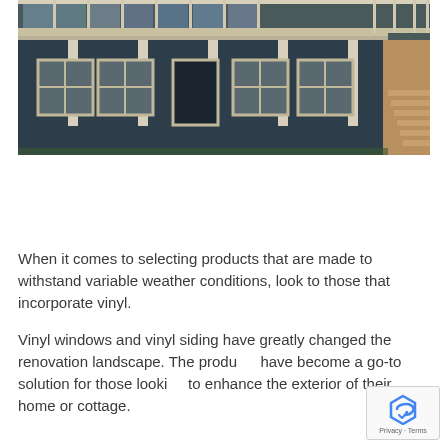[Figure (photo): Exterior photo of a house with blue/dark siding, white trim columns, multiple windows, a covered porch on the ground level, and a balcony with white railing on the upper level. Wooden stairs visible on the right side.]
When it comes to selecting products that are made to withstand variable weather conditions, look to those that incorporate vinyl.
Vinyl windows and vinyl siding have greatly changed the renovation landscape. The products have become a go-to solution for those looking to enhance the exterior of their home or cottage.